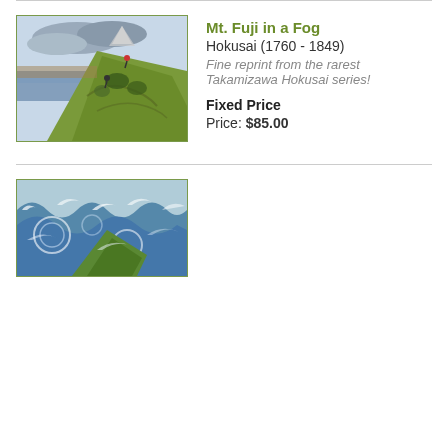[Figure (illustration): Japanese woodblock print of Mt. Fuji seen from a rocky cliff with figures climbing, green slopes, blue sky with clouds, water in distance]
Mt. Fuji in a Fog
Hokusai (1760 - 1849)
Fine reprint from the rarest Takamizawa Hokusai series!
Fixed Price
Price: $85.00
[Figure (illustration): Japanese woodblock print of swirling ocean waves with green rocky element, blue and white color scheme]